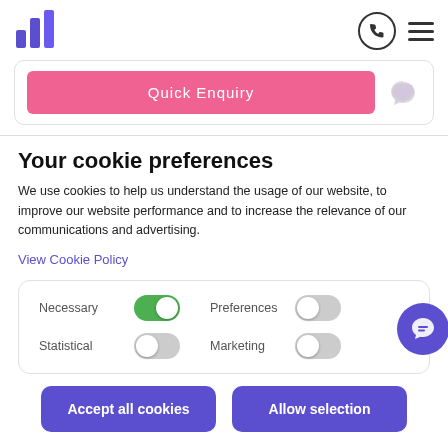[Figure (logo): Purple bar chart logo icon]
[Figure (illustration): Phone icon in circle and hamburger menu icon]
Quick Enquiry
Your cookie preferences
We use cookies to help us understand the usage of our website, to improve our website performance and to increase the relevance of our communications and advertising.
View Cookie Policy
[Figure (infographic): Cookie preference toggles: Necessary (on/green), Statistical (off/grey), Preferences (off/grey), Marketing (off/grey)]
Accept all cookies
Allow selection